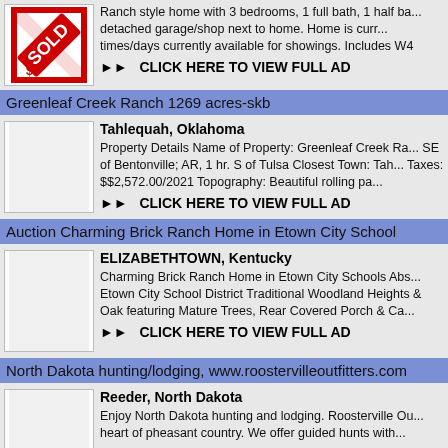[Figure (illustration): SOLD sign graphic in red and white]
Ranch style home with 3 bedrooms, 1 full bath, 1 half bath, detached garage/shop next to home. Home is currently times/days currently available for showings. Includes W4
▶▶ CLICK HERE TO VIEW FULL AD
Greenleaf Creek Ranch 1269 acres-skb
Tahlequah, Oklahoma
Property Details Name of Property: Greenleaf Creek Ra... SE of Bentonville; AR, 1 hr. S of Tulsa Closest Town: Tah... Taxes: $$2,572.00/2021 Topography: Beautiful rolling pa...
▶▶ CLICK HERE TO VIEW FULL AD
Auction Charming Brick Ranch Home in Etown City School
ELIZABETHTOWN, Kentucky
Charming Brick Ranch Home in Etown City Schools Abs... Etown City School District Traditional Woodland Heights & Oak featuring Mature Trees, Rear Covered Porch & Ca...
▶▶ CLICK HERE TO VIEW FULL AD
North Dakota hunting/lodging, www.roostervilleoutfitters.com
Reeder, North Dakota
Enjoy North Dakota hunting and lodging. Roosterville Ou... heart of pheasant country. We offer guided hunts with...